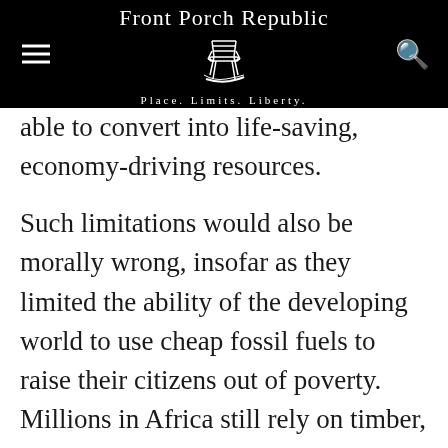Front Porch Republic — Place. Limits. Liberty.
able to convert into life-saving, economy-driving resources. Such limitations would also be morally wrong, insofar as they limited the ability of the developing world to use cheap fossil fuels to raise their citizens out of poverty. Millions in Africa still rely on timber, and sometimes even dried dung, for heat and cooking, with disastrous effects on respiratory health and disease rates. Fossil fuels are their best hope for a